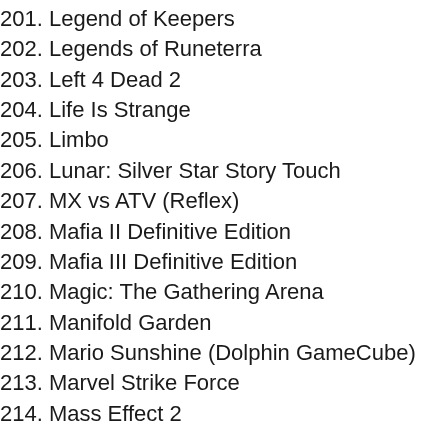201. Legend of Keepers
202. Legends of Runeterra
203. Left 4 Dead 2
204. Life Is Strange
205. Limbo
206. Lunar: Silver Star Story Touch
207. MX vs ATV (Reflex)
208. Mafia II Definitive Edition
209. Mafia III Definitive Edition
210. Magic: The Gathering Arena
211. Manifold Garden
212. Mario Sunshine (Dolphin GameCube)
213. Marvel Strike Force
214. Mass Effect 2